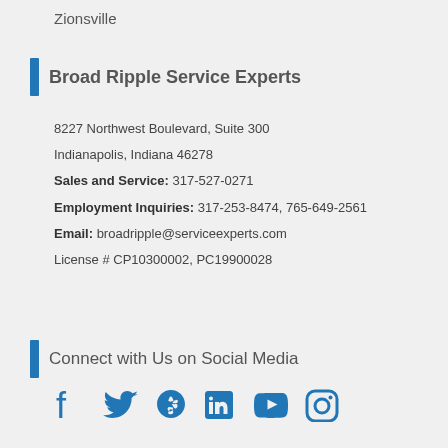Zionsville
Broad Ripple Service Experts
8227 Northwest Boulevard, Suite 300
Indianapolis, Indiana 46278
Sales and Service: 317-527-0271
Employment Inquiries: 317-253-8474, 765-649-2561
Email: broadripple@serviceexperts.com
License # CP10300002, PC19900028
Connect with Us on Social Media
[Figure (illustration): Social media icons: Facebook, Twitter, Yelp, LinkedIn, YouTube, Instagram]